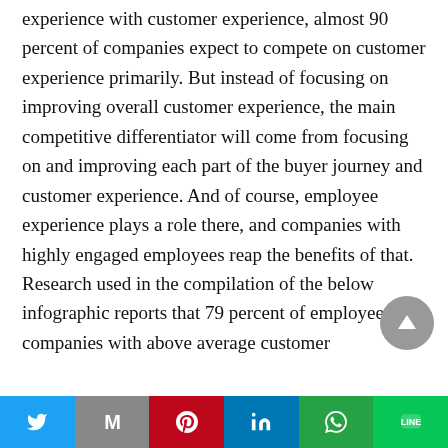experience with customer experience, almost 90 percent of companies expect to compete on customer experience primarily. But instead of focusing on improving overall customer experience, the main competitive differentiator will come from focusing on and improving each part of the buyer journey and customer experience. And of course, employee experience plays a role there, and companies with highly engaged employees reap the benefits of that.

Research used in the compilation of the below infographic reports that 79 percent of employees at companies with above average customer
[Figure (other): Circular scroll-to-top button with upward arrow, grey background]
[Figure (infographic): Social share bar with Twitter, Gmail, Pinterest, LinkedIn, WhatsApp, and LINE buttons]